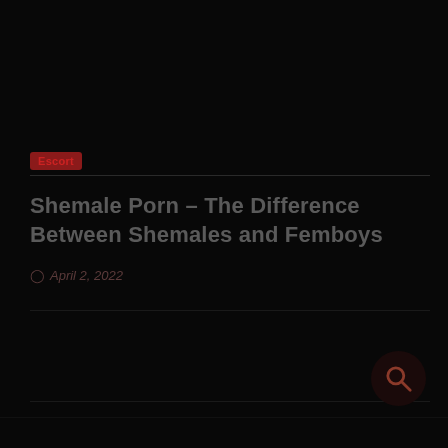Escort
Shemale Porn – The Difference Between Shemales and Femboys
April 2, 2022